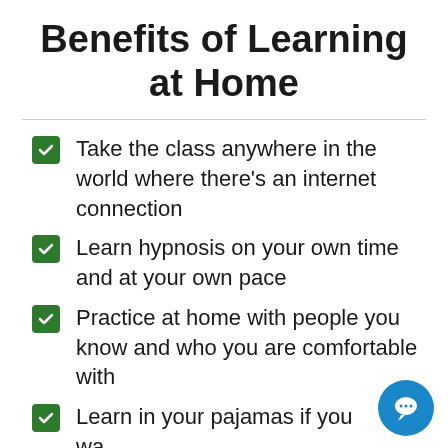Benefits of Learning at Home
Take the class anywhere in the world where there's an internet connection
Learn hypnosis on your own time and at your own pace
Practice at home with people you know and who you are comfortable with
Learn in your pajamas if you wa...